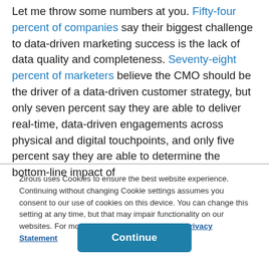Let me throw some numbers at you. Fifty-four percent of companies say their biggest challenge to data-driven marketing success is the lack of data quality and completeness. Seventy-eight percent of marketers believe the CMO should be the driver of a data-driven customer strategy, but only seven percent say they are able to deliver real-time, data-driven engagements across physical and digital touchpoints, and only five percent say they are able to determine the bottom-line impact of
Zirous uses Cookies to ensure the best website experience. Continuing without changing Cookie settings assumes you consent to our use of cookies on this device. You can change this setting at any time, but that may impair functionality on our websites. For more information please see our Privacy Statement
Continue